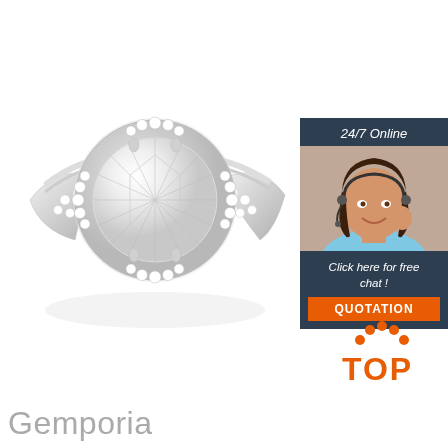[Figure (photo): Diamond halo engagement ring with large round center stone, silver/white gold band with pavé diamonds]
[Figure (infographic): 24/7 Online chat widget with female customer service agent wearing headset, 'Click here for free chat!' text, and orange QUOTATION button]
[Figure (logo): TOP logo with orange arch of dots above orange text]
Gemporia